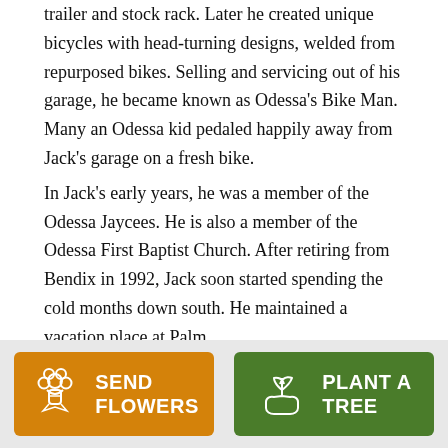trailer and stock rack. Later he created unique bicycles with head-turning designs, welded from repurposed bikes. Selling and servicing out of his garage, he became known as Odessa's Bike Man. Many an Odessa kid pedaled happily away from Jack's garage on a fresh bike. In Jack's early years, he was a member of the Odessa Jaycees. He is also a member of the Odessa First Baptist Church. After retiring from Bendix in 1992, Jack soon started spending the cold months down south. He maintained a vacation place at Palm
[Figure (infographic): Two call-to-action buttons: 'SEND FLOWERS' (orange background with flower bouquet icon) and 'PLANT A TREE' (green background with plant/hand icon)]